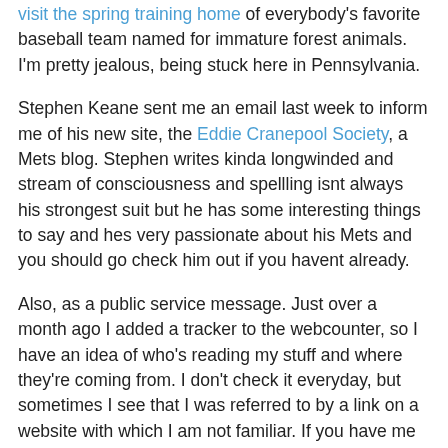visit the spring training home of everybody's favorite baseball team named for immature forest animals. I'm pretty jealous, being stuck here in Pennsylvania.
Stephen Keane sent me an email last week to inform me of his new site, the Eddie Cranepool Society, a Mets blog. Stephen writes kinda longwinded and stream of consciousness and spellling isnt always his strongest suit but he has some interesting things to say and hes very passionate about his Mets and you should go check him out if you havent already.
Also, as a public service message. Just over a month ago I added a tracker to the webcounter, so I have an idea of who's reading my stuff and where they're coming from. I don't check it everyday, but sometimes I see that I was referred to by a link on a website with which I am not familiar. If you have me linked, please let me know. If not to reciprocate the link, which I will usually gladly do, then to let me know who likes my stuff enough to spend the time placing a Boy of Summer link on their own website. I'm always honored when somebody does that. Thanks